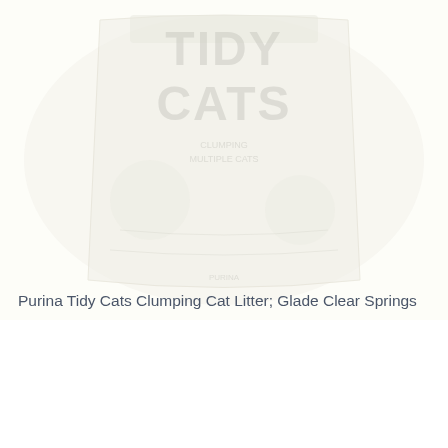[Figure (photo): Product image of Purina Tidy Cats cat litter bag with 'TIDY CATS' text visible, shown in a very light/washed out style against a white background. The bag appears to be a large bag of cat litter with branding visible.]
Purina Tidy Cats Clumping Cat Litter; Glade Clear Springs